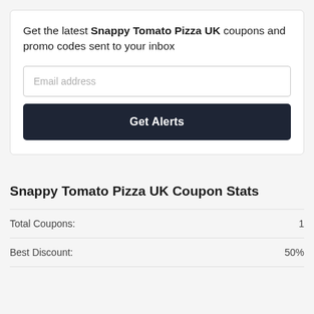Get the latest Snappy Tomato Pizza UK coupons and promo codes sent to your inbox
Email address
Get Alerts
Snappy Tomato Pizza UK Coupon Stats
|  |  |
| --- | --- |
| Total Coupons: | 1 |
| Best Discount: | 50% |